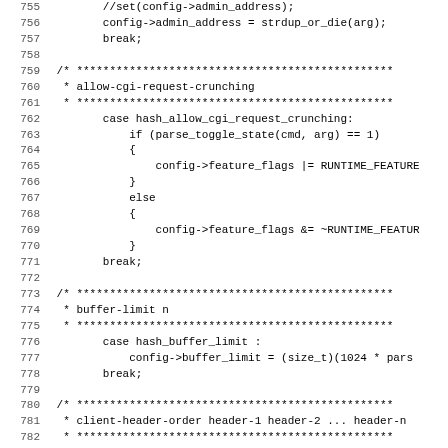Source code listing, lines 755-787, C code for configuration parsing
756: config->admin_address = strdup_or_die(arg);
757: break;
758: (blank)
759: /* **** comment block ****
760:  * allow-cgi-request-crunching
761:  * **** comment block ****
762: case hash_allow_cgi_request_crunching:
763: if (parse_toggle_state(cmd, arg) == 1)
764: {
765: config->feature_flags |= RUNTIME_FEATURE
766: }
767: else
768: {
769: config->feature_flags &= ~RUNTIME_FEATUR
770: }
771: break;
772: (blank)
773: /* **** comment block ****
774:  * buffer-limit n
775:  * **** comment block ****
776: case hash_buffer_limit :
777: config->buffer_limit = (size_t)(1024 * pars
778: break;
779: (blank)
780: /* **** comment block ****
781:  * client-header-order header-1 header-2 ... header-n
782:  * **** comment block ****
783: case hash_client_header_order:
784: list_remove_all(config->ordered_client_heac
785: parse_client_header_order(config->ordered_c
786: break;
787: (blank)